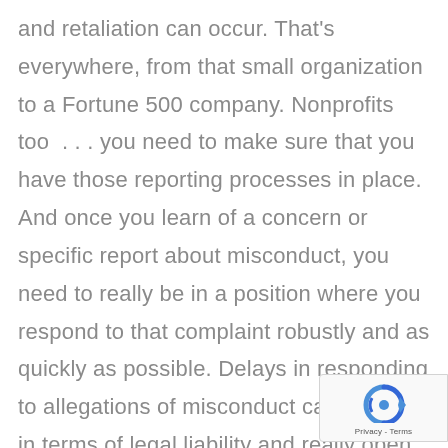and retaliation can occur. That's everywhere, from that small organization to a Fortune 500 company. Nonprofits too . . . you need to make sure that you have those reporting processes in place. And once you learn of a concern or specific report about misconduct, you need to really be in a position where you respond to that complaint robustly and as quickly as possible. Delays in responding to allegations of misconduct can be huge in terms of legal liability and really open up a company to some very specific
[Figure (logo): reCAPTCHA badge with blue arrow logo and 'Privacy - Terms' text]